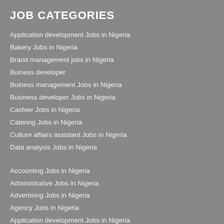JOB CATEGORIES
Application development Jobs in Nigeria
Bakery Jobs in Nigeria
Brand management jobs in Nigeria
Buiness developer
Buiness management Jobs in Nigeria
Business developer Jobs in Nigeria
Cashier Jobs in Nigeria
Catering Jobs in Nigeria
Culture affairs assistant Jobs in Nigeria
Data analysis Jobs in Nigeria
Accounting Jobs in Nigeria
Administrative Jobs in Nigeria
Advertising Jobs in Nigeria
Agency Jobs in Nigeria
Application development Jobs in Nigeria